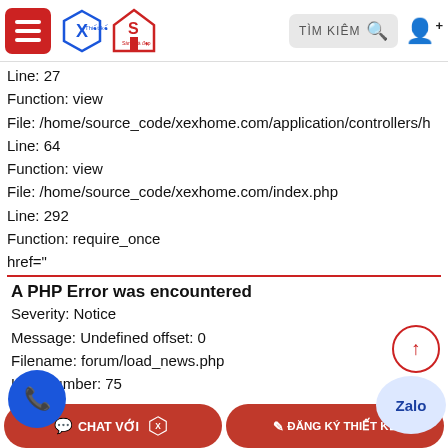TÌM KIÊM [search bar] [user icon]
Line: 27
Function: view
File: /home/source_code/xexhome.com/application/controllers/h
Line: 64
Function: view
File: /home/source_code/xexhome.com/index.php
Line: 292
Function: require_once
href="
A PHP Error was encountered
Severity: Notice
Message: Undefined offset: 0
Filename: forum/load_news.php
Line Number: 75
Backtrace:
CHAT VỚI  |  ĐĂNG KÝ THIẾT KẾ